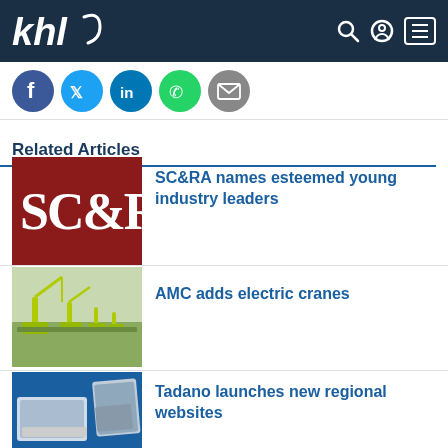khl
[Figure (illustration): Social media share icons: Facebook, Twitter, LinkedIn, WhatsApp, Email]
Related Articles
[Figure (logo): SC&RA logo — white text on dark red background]
SC&RA names esteemed young industry leaders
[Figure (photo): Yellow electric cranes outdoors]
AMC adds electric cranes
[Figure (photo): Laptop and tablet showing Tadano website, blue background]
Tadano launches new regional websites